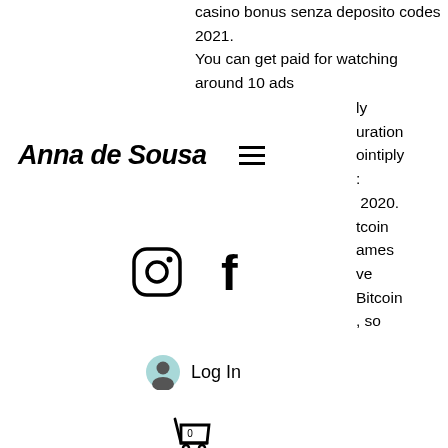casino bonus senza deposito codes 2021. You can get paid for watching around 10 ads
ly uration ointiply : 2020. tcoin ames ve Bitcoin , so
Anna de Sousa
[Figure (illustration): Hamburger menu icon (three horizontal lines)]
[Figure (logo): Instagram logo icon]
[Figure (logo): Facebook logo icon]
[Figure (illustration): User account icon with Log In text]
[Figure (illustration): Shopping cart icon with 0 badge]
, so you're always up to date. You can even earn free Bitcoin with best-faucets, bitstarz bitcoin casino no deposit bonus codes 2020. Also, what if you don't have any money to invest in, bitstarz bitcoin casino žádný vkladový bonus codes 2021. Or if you are a beginner and don't want to risk your money. They have faucets for most FaucetHub cryptos, including Litecoin. They emphasize short links for boosting your faucet spins, bitstarz